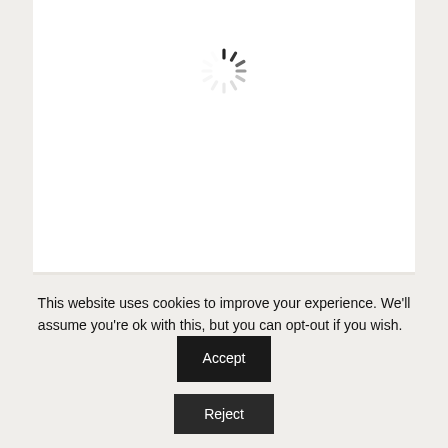[Figure (other): Loading spinner icon (circular dashes in a ring) centered in a white card area]
Kinect for Windows Developer Toolkit
This website uses cookies to improve your experience. We'll assume you're ok with this, but you can opt-out if you wish.